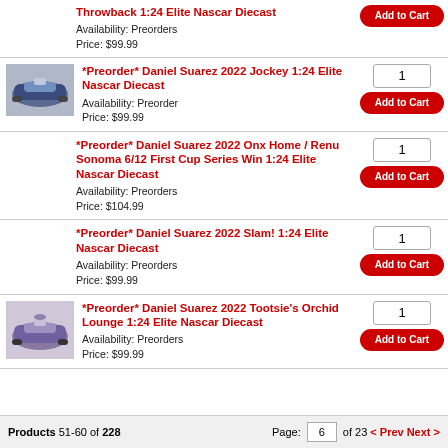Throwback 1:24 Elite Nascar Diecast
Availability: Preorders
Price: $99.99
*Preorder* Daniel Suarez 2022 Jockey 1:24 Elite Nascar Diecast
Availability: Preorder
Price: $99.99
*Preorder* Daniel Suarez 2022 Onx Home / Renu Sonoma 6/12 First Cup Series Win 1:24 Elite Nascar Diecast
Availability: Preorders
Price: $104.99
*Preorder* Daniel Suarez 2022 Slam! 1:24 Elite Nascar Diecast
Availability: Preorders
Price: $99.99
*Preorder* Daniel Suarez 2022 Tootsie's Orchid Lounge 1:24 Elite Nascar Diecast
Availability: Preorders
Price: $99.99
Products 51-60 of 228    Page: 6 of 23 < Prev Next >